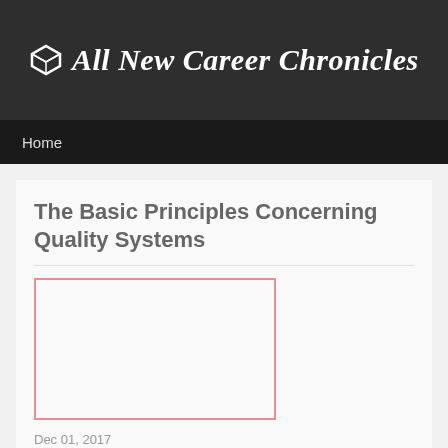All New Career Chronicles
Home
The Basic Principles Concerning Quality Systems
[Figure (other): Placeholder image box with salmon/pink border, empty white interior]
Dec 01, 2017
ISO 9001 is the internationally acknowledged Quality...